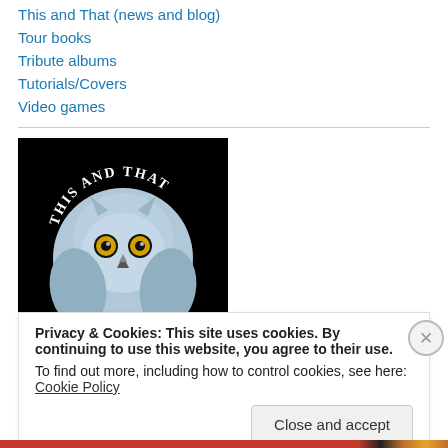This and That (news and blog)
Tour books
Tribute albums
Tutorials/Covers
Video games
[Figure (illustration): Black background image with a white/blue snowy owl face centered, text 'THIS AND THAT' arched above the owl in white letters]
Privacy & Cookies: This site uses cookies. By continuing to use this website, you agree to their use.
To find out more, including how to control cookies, see here: Cookie Policy
Close and accept